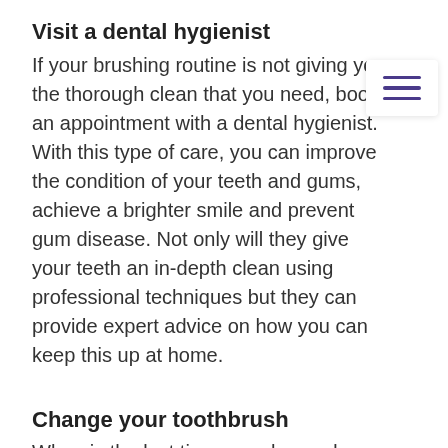Visit a dental hygienist
If your brushing routine is not giving you the thorough clean that you need, book an appointment with a dental hygienist. With this type of care, you can improve the condition of your teeth and gums, achieve a brighter smile and prevent gum disease. Not only will they give your teeth an in-depth clean using professional techniques but they can provide expert advice on how you can keep this up at home.
Change your toothbrush
When is the last time you changed your